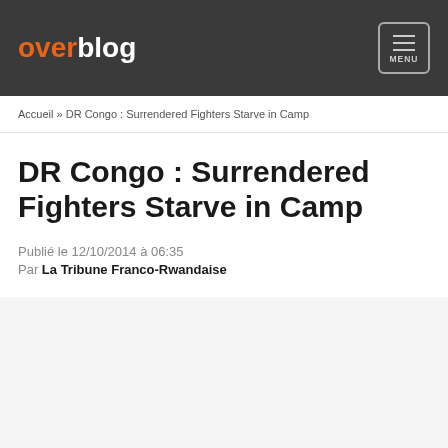overblog MENU
Accueil » DR Congo : Surrendered Fighters Starve in Camp
DR Congo : Surrendered Fighters Starve in Camp
Publié le 12/10/2014 à 06:35
Par La Tribune Franco-Rwandaise